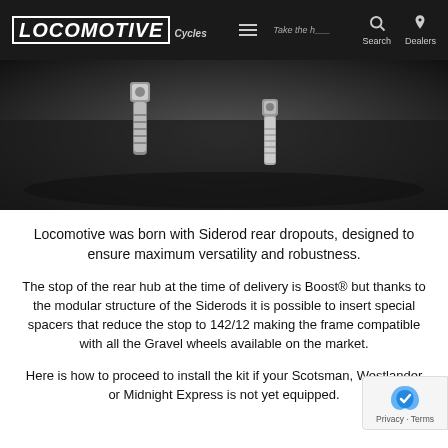LOCOMOTIVE Cycles — Search | Dealers
[Figure (photo): Close-up photo of two metal bolt/screw hardware pieces (Siderod dropout components) on a dark background.]
Locomotive was born with Siderod rear dropouts, designed to ensure maximum versatility and robustness.
The stop of the rear hub at the time of delivery is Boost® but thanks to the modular structure of the Siderods it is possible to insert special spacers that reduce the stop to 142/12 making the frame compatible with all the Gravel wheels available on the market.
Here is how to proceed to install the kit if your Scotsman, Westlander or Midnight Express is not yet equipped.